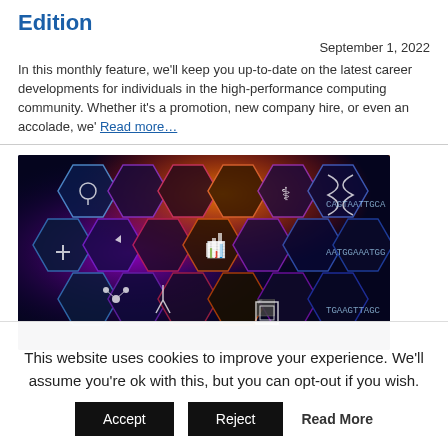Edition
September 1, 2022
In this monthly feature, we'll keep you up-to-date on the latest career developments for individuals in the high-performance computing community. Whether it's a promotion, new company hire, or even an accolade, we' Read more…
[Figure (photo): Hexagonal technology icons with glowing colors including DNA, analytics, medical cross, chemistry, and chip symbols on a dark background with genomic sequence text overlay]
This website uses cookies to improve your experience. We'll assume you're ok with this, but you can opt-out if you wish. Accept Reject Read More